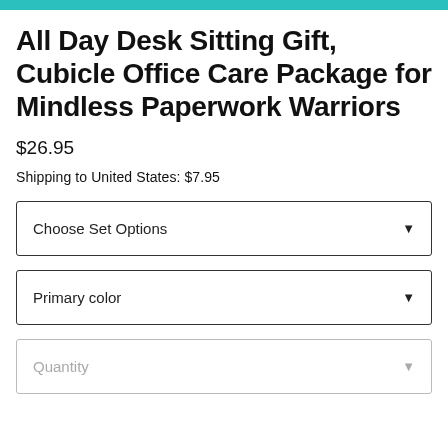All Day Desk Sitting Gift, Cubicle Office Care Package for Mindless Paperwork Warriors
$26.95
Shipping to United States: $7.95
Choose Set Options
Primary color
Quantity